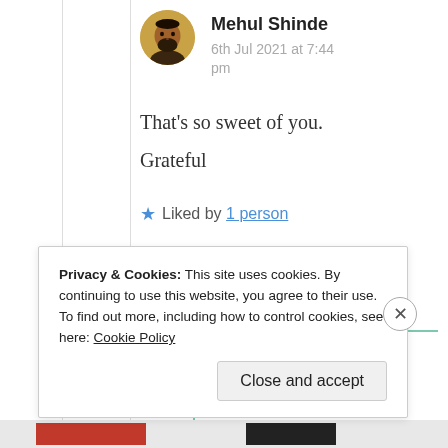Mehul Shinde
6th Jul 2021 at 7:44 pm
That's so sweet of you.
Grateful
★ Liked by 1 person
Privacy & Cookies: This site uses cookies. By continuing to use this website, you agree to their use.
To find out more, including how to control cookies, see here: Cookie Policy
Close and accept